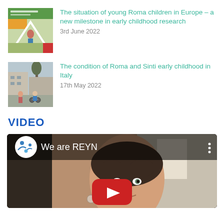[Figure (photo): Thumbnail image for article about Roma children in Europe — child standing in a triangular frame outdoors]
The situation of young Roma children in Europe – a new milestone in early childhood research
3rd June 2022
[Figure (photo): Thumbnail image for article about Roma and Sinti early childhood in Italy — children playing outside near buildings]
The condition of Roma and Sinti early childhood in Italy
17th May 2022
VIDEO
[Figure (screenshot): YouTube video thumbnail showing a woman with short dark hair; video title 'We are REYN' with REYN logo and YouTube play button]